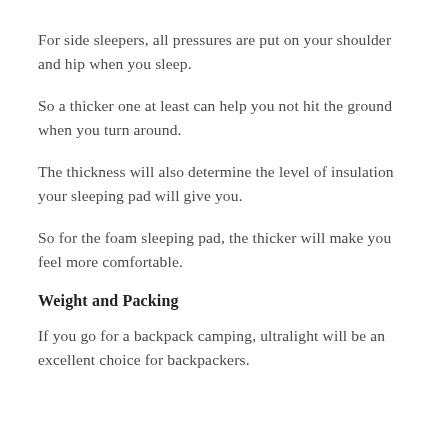For side sleepers, all pressures are put on your shoulder and hip when you sleep.
So a thicker one at least can help you not hit the ground when you turn around.
The thickness will also determine the level of insulation your sleeping pad will give you.
So for the foam sleeping pad, the thicker will make you feel more comfortable.
Weight and Packing
If you go for a backpack camping, ultralight will be an excellent choice for backpackers.